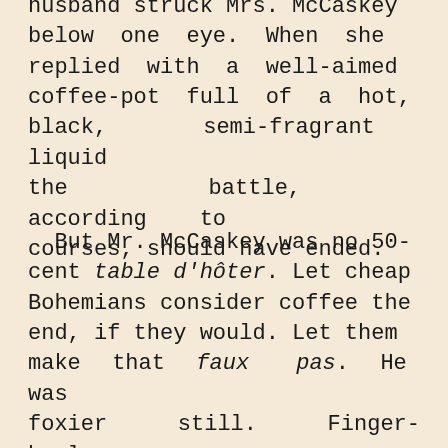husband struck Mrs. McCaskey below one eye. When she replied with a well-aimed coffee-pot full of a hot, black, semi-fragrant liquid the battle, according to courses, should have ended.
But Mr. McCaskey was no 50-cent table d'hôter. Let cheap Bohemians consider coffee the end, if they would. Let them make that faux pas. He was foxier still. Finger-bowls were not beyond the compass of his experience. They were not to be had in the Pension Murphy; but their equivalent was at hand. Triumphantly he sent the granite-ware wash basin at the head of his